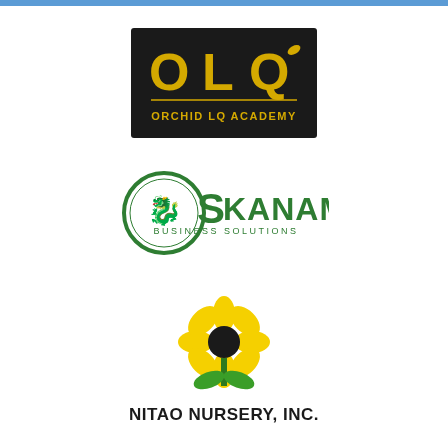[Figure (logo): Orchid LQ Academy logo: black rectangular background with large golden 'OLQ' letters, a small leaf accent on the Q, a horizontal gold line, and 'ORCHID LQ ACADEMY' text below in gold on black.]
[Figure (logo): Skaname Business Solutions logo: circular green ring containing a stylized silver dragon, with 'SKANAME' in large teal letters and 'BUSINESS SOLUTIONS' in smaller letters below.]
[Figure (logo): Nitao Nursery, Inc. logo: yellow sunflower with black center and green stem/leaves above the text 'NITAO NURSERY, INC.' in bold black letters.]